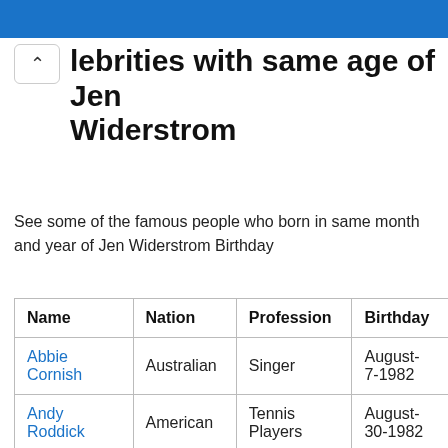lebrities with same age of Jen Widerstrom
See some of the famous people who born in same month and year of Jen Widerstrom Birthday
| Name | Nation | Profession | Birthday |
| --- | --- | --- | --- |
| Abbie Cornish | Australian | Singer | August-7-1982 |
| Andy Roddick | American | Tennis Players | August-30-1982 |
| Erika Christensen | American | Actress | August-19-1982 |
| John |  |  | August- |